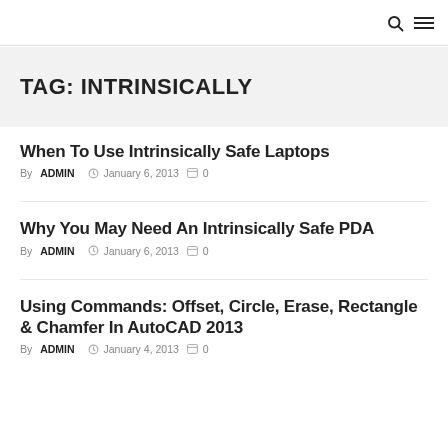🔍 ≡
TAG: INTRINSICALLY
When To Use Intrinsically Safe Laptops
By ADMIN  January 6, 2013  0
Why You May Need An Intrinsically Safe PDA
By ADMIN  January 6, 2013  0
Using Commands: Offset, Circle, Erase, Rectangle & Chamfer In AutoCAD 2013
By ADMIN  January 4, 2013  0